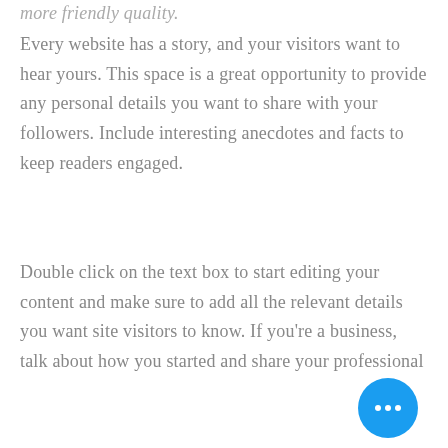more friendly quality.
Every website has a story, and your visitors want to hear yours. This space is a great opportunity to provide any personal details you want to share with your followers. Include interesting anecdotes and facts to keep readers engaged.
Double click on the text box to start editing your content and make sure to add all the relevant details you want site visitors to know. If you’re a business, talk about how you started and share your professional